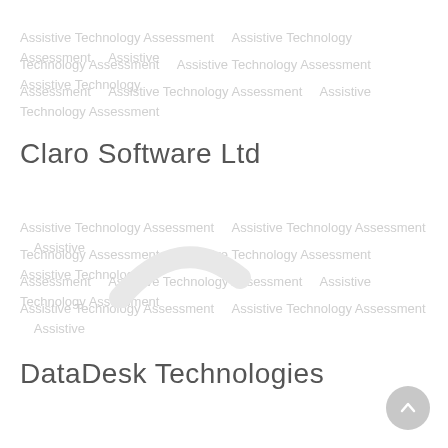(faded/watermarked background text - row 1)
(faded/watermarked background text - row 2)
(faded/watermarked background text - row 3)
Claro Software Ltd
(faded/watermarked background text - rows 4-7)
DataDesk Technologies
[Figure (other): Scroll-to-top circular button with upward chevron arrow, grey background, bottom right corner]